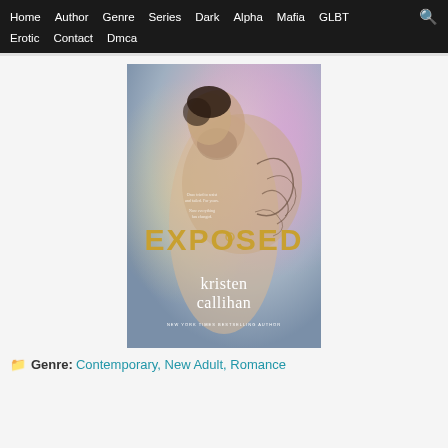Home  Author  Genre  Series  Dark  Alpha  Mafia  GLBT  Erotic  Contact  Dmca
[Figure (illustration): Book cover of 'Exposed' by Kristen Callihan. Shows a shirtless tattooed man looking down, against a soft purple/golden light background. Title 'EXPOSED' in large gold letters in the center. Author name 'kristen callihan' in white serif font at the bottom. Tagline text in small font near center. 'NEW YORK TIMES BESTSELLING AUTHOR' at the very bottom.]
Genre: Contemporary, New Adult, Romance